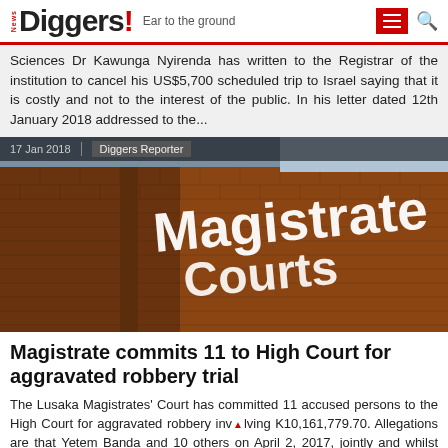News Diggers! Ear to the ground
Sciences Dr Kawunga Nyirenda has written to the Registrar of the institution to cancel his US$5,700 scheduled trip to Israel saying that it is costly and not to the interest of the public. In his letter dated 12th January 2018 addressed to the...
17 Jan 2018 | Diggers Reporter
[Figure (photo): Photograph of a brick building exterior with white lettering reading 'Magistrates Courts']
Magistrate commits 11 to High Court for aggravated robbery trial
The Lusaka Magistrates' Court has committed 11 accused persons to the High Court for aggravated robbery involving K10,161,779.70. Allegations are that Yetem Banda and 10 others on April 2, 2017, jointly and whilst acting...